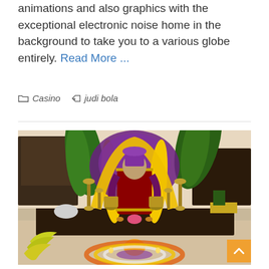animations and also graphics with the exceptional electronic noise home in the background to take you to a various globe entirely. Read More ...
Casino   judi bola
[Figure (photo): A Hindu deity idol adorned with yellow and purple flower garlands, dressed in a red and gold saree, surrounded by oil lamps (diyas), brass vessels, fruits, bananas, and a colorful floral rangoli arrangement on the floor.]